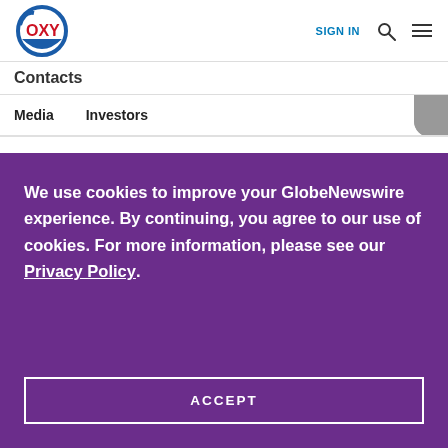[Figure (logo): OXY (Occidental Petroleum) logo — red OXY text with blue circular swoosh graphic]
SIGN IN
Contacts
Media    Investors
We use cookies to improve your GlobeNewswire experience. By continuing, you agree to our use of cookies. For more information, please see our Privacy Policy.
ACCEPT